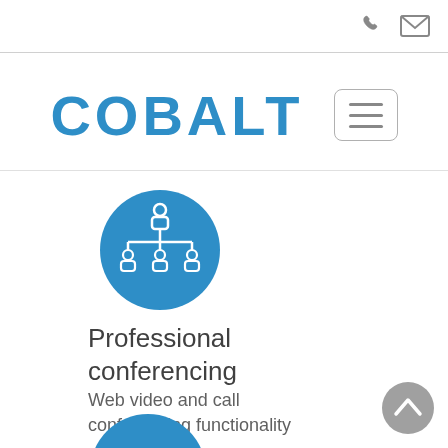COBALT
[Figure (illustration): Blue circular icon with a white organizational chart / hierarchy diagram showing one figure at top connected to three figures below]
Professional conferencing
Web video and call conferencing functionality
[Figure (illustration): Partial blue circular icon at bottom of page, partially cut off]
[Figure (illustration): Grey circular scroll-to-top button with upward chevron arrow]